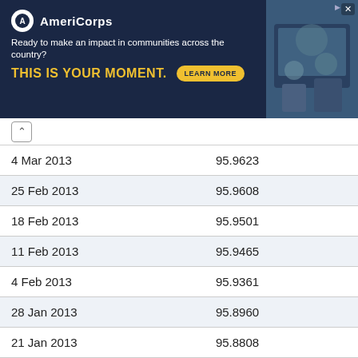[Figure (other): AmeriCorps advertisement banner with dark navy background. Logo with circular emblem on left. Text: 'Ready to make an impact in communities across the country? THIS IS YOUR MOMENT.' with a yellow 'LEARN MORE' button. Photo of people at a computer on the right side.]
| Date | Value |
| --- | --- |
| 4 Mar 2013 | 95.9623 |
| 25 Feb 2013 | 95.9608 |
| 18 Feb 2013 | 95.9501 |
| 11 Feb 2013 | 95.9465 |
| 4 Feb 2013 | 95.9361 |
| 28 Jan 2013 | 95.8960 |
| 21 Jan 2013 | 95.8808 |
| 14 Jan 2013 | 95.8606 |
| 7 Jan 2013 | 95.8456 |
| 31 Dec 2012 | 95.8115 |
| 24 Dec 2012 | 95.8092 |